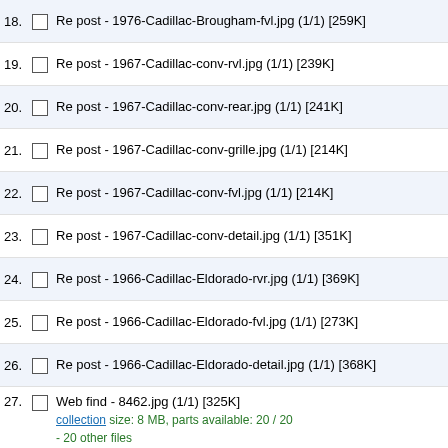18. Re post - 1976-Cadillac-Brougham-fvl.jpg (1/1) [259K]
19. Re post - 1967-Cadillac-conv-rvl.jpg (1/1) [239K]
20. Re post - 1967-Cadillac-conv-rear.jpg (1/1) [241K]
21. Re post - 1967-Cadillac-conv-grille.jpg (1/1) [214K]
22. Re post - 1967-Cadillac-conv-fvl.jpg (1/1) [214K]
23. Re post - 1967-Cadillac-conv-detail.jpg (1/1) [351K]
24. Re post - 1966-Cadillac-Eldorado-rvr.jpg (1/1) [369K]
25. Re post - 1966-Cadillac-Eldorado-fvl.jpg (1/1) [273K]
26. Re post - 1966-Cadillac-Eldorado-detail.jpg (1/1) [368K]
27. Web find - 8462.jpg (1/1) [325K] collection size: 8 MB, parts available: 20 / 20 - 20 other files
28. Re post - 1966-Cadillac-Coupe-de-Ville-rvl.jpg (1/1) [248K]
29. Re post - 1966-Cadillac-Coupe-de-Ville-rear.jpg (1/1) [255K]
30. Re post - 1966-Cadillac-Coupe-de-Ville-grille.jpg (1/1) [340K]